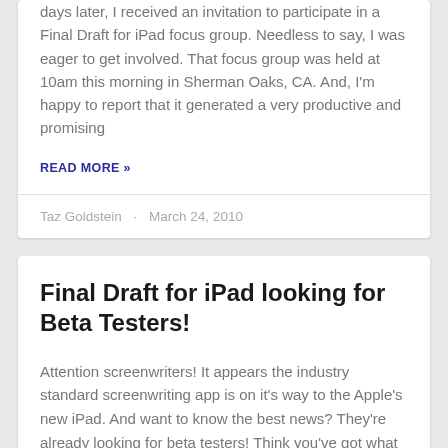days later, I received an invitation to participate in a Final Draft for iPad focus group. Needless to say, I was eager to get involved. That focus group was held at 10am this morning in Sherman Oaks, CA.  And, I'm happy to report that it generated a very productive and promising
READ MORE »
Taz Goldstein · March 24, 2010
Final Draft for iPad looking for Beta Testers!
Attention screenwriters! It appears the industry standard screenwriting app is on it's way to the Apple's new iPad.  And want to know the best news?  They're already looking for beta testers! Think you've got what it takes?  Well then, grab your bug zapper and head on over to the Final Draft